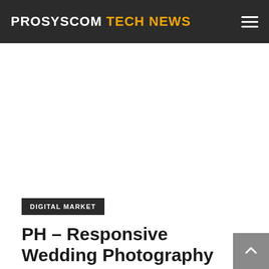PROSYSCOM TECH NEWS
[Figure (other): White advertisement/blank area below header]
DIGITAL MARKET
PH – Responsive Wedding Photography WordPress Theme | Prosyscom Tech